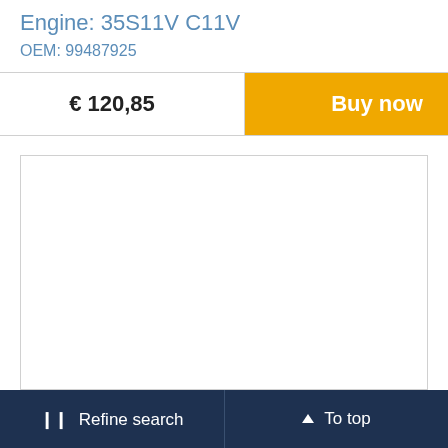Engine: 35S11V C11V
OEM: 99487925
| Price | Action |
| --- | --- |
| € 120,85 | Buy now |
[Figure (other): Empty white image/product area with border]
❙❙ Refine search   ▲ To top